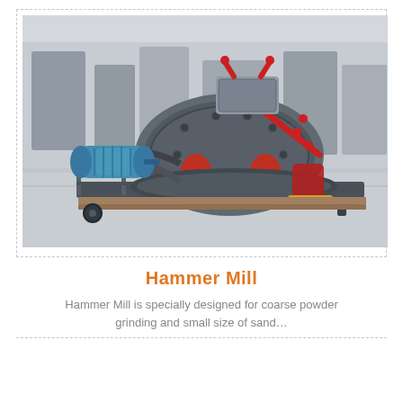[Figure (photo): Photograph of a Hammer Mill machine — a large industrial grinding machine with a cylindrical rotor/disc body, red belt guard, blue electric motor with belt drive on the left side, red handles on top, mounted on a steel frame/pallet. The machine is shown in an industrial factory setting with other equipment visible in the background.]
Hammer Mill
Hammer Mill is specially designed for coarse powder grinding and small size of sand…